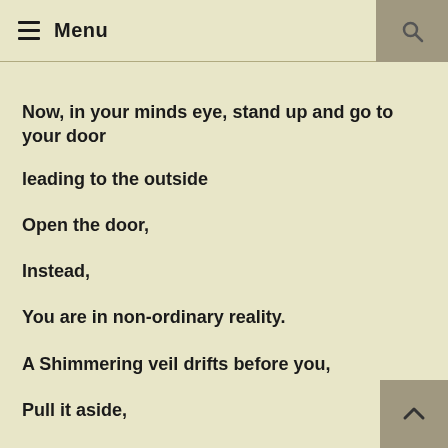≡ Menu
Now, in your minds eye, stand up and go to your door leading to the outside
Open the door,
Instead,
You are in non-ordinary reality.
A Shimmering veil drifts before you,
Pull it aside,
And step out.
Notice changes in the landscape,